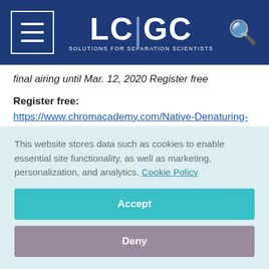LC|GC — Solutions for Separation Scientists
final airing until Mar. 12, 2020 Register free
Register free: https://www.chromacademy.com/Native-Denaturing-Mode-Size-Exclusion-Analysis-Biotherapeutics.html
Event Overview:
High performance liquid chromatography and mass
This website stores data such as cookies to enable essential site functionality, as well as marketing, personalization, and analytics. Cookie Policy
Accept
Deny